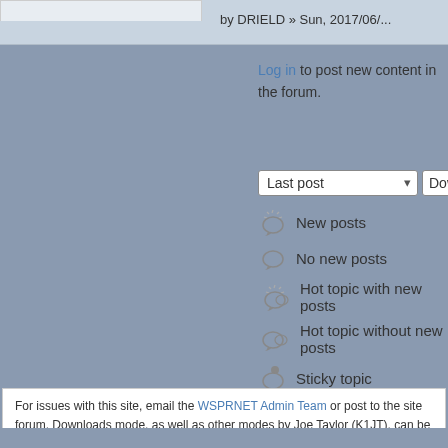by DRIELD » Sun, 2017/06/...
Log in to post new content in the forum.
[Figure (screenshot): Sort controls: Last post dropdown, Down dropdown, and a sort button]
New posts
No new posts
Hot topic with new posts
Hot topic without new posts
Sticky topic
Locked topic
For issues with this site, email the WSPRNET Admin Team or post to the site forum. Downloads mode, as well as other modes by Joe Taylor (K1JT), can be f...
RoopleTheme